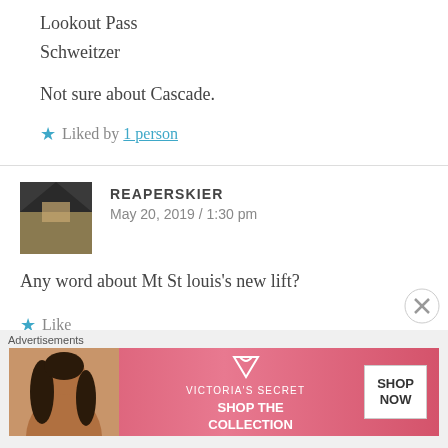Lookout Pass
Schweitzer
Not sure about Cascade.
★ Liked by 1 person
REAPERSKIER
May 20, 2019 / 1:30 pm
Any word about Mt St louis's new lift?
★ Like
[Figure (screenshot): Victoria's Secret advertisement banner with model, VS logo, 'SHOP THE COLLECTION' text and 'SHOP NOW' button]
Advertisements